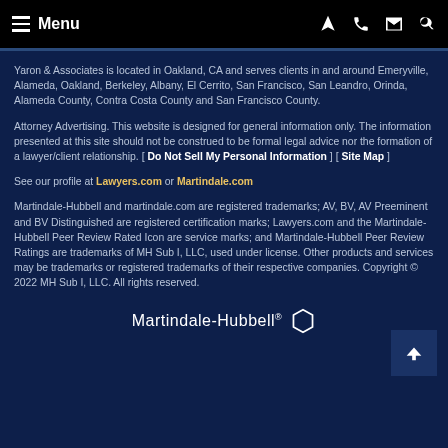Menu
Yaron & Associates is located in Oakland, CA and serves clients in and around Emeryville, Alameda, Oakland, Berkeley, Albany, El Cerrito, San Francisco, San Leandro, Orinda, Alameda County, Contra Costa County and San Francisco County.
Attorney Advertising. This website is designed for general information only. The information presented at this site should not be construed to be formal legal advice nor the formation of a lawyer/client relationship. [ Do Not Sell My Personal Information ] [ Site Map ]
See our profile at Lawyers.com or Martindale.com
Martindale-Hubbell and martindale.com are registered trademarks; AV, BV, AV Preeminent and BV Distinguished are registered certification marks; Lawyers.com and the Martindale-Hubbell Peer Review Rated Icon are service marks; and Martindale-Hubbell Peer Review Ratings are trademarks of MH Sub I, LLC, used under license. Other products and services may be trademarks or registered trademarks of their respective companies. Copyright © 2022 MH Sub I, LLC. All rights reserved.
Martindale-Hubbell®